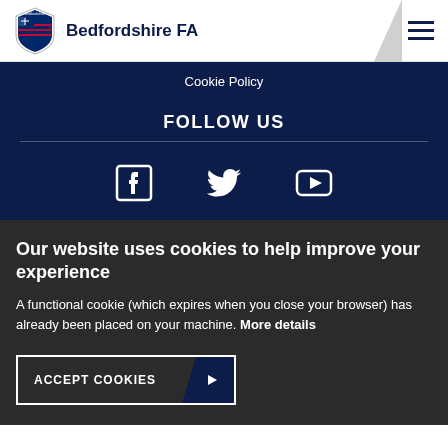Bedfordshire FA
Cookie Policy
FOLLOW US
[Figure (other): Social media icons: Facebook, Twitter, YouTube]
Our website uses cookies to help improve your experience
A functional cookie (which expires when you close your browser) has already been placed on your machine. More details
ACCEPT COOKIES